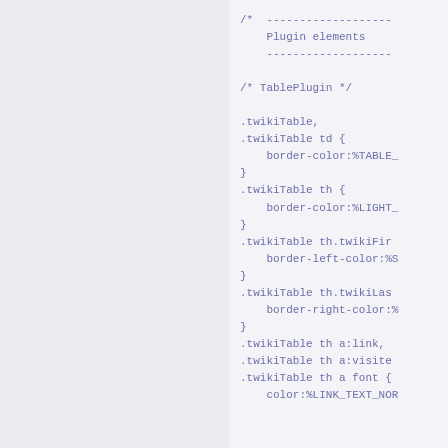/*  -------------------
    Plugin elements
    -------------------

/* TablePlugin */

.twikiTable,
.twikiTable td {
    border-color:%TABLE_
}
.twikiTable th {
    border-color:%LIGHT_
}
.twikiTable th.twikiFir
    border-left-color:%S
}
.twikiTable th.twikiLas
    border-right-color:%
}
.twikiTable th a:link,
.twikiTable th a:visite
.twikiTable th a font {
    color:%LINK_TEXT_NOR